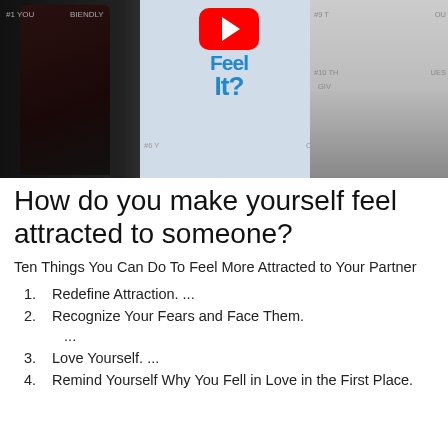[Figure (screenshot): YouTube video thumbnail showing two people facing away from each other with a YouTube play button and blue text 'Feel It?' in the center, with infographic elements in the background.]
How do you make yourself feel attracted to someone?
Ten Things You Can Do To Feel More Attracted to Your Partner
1. Redefine Attraction. ...
2. Recognize Your Fears and Face Them. ...
3. Love Yourself. ...
4. Remind Yourself Why You Fell in Love in the First Place.